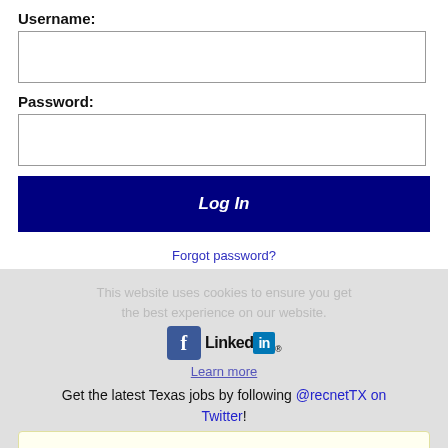Username:
[Figure (screenshot): Username input field (empty text box)]
Password:
[Figure (screenshot): Password input field (empty text box)]
[Figure (screenshot): Log In button (dark navy blue background, white italic text)]
Forgot password?
This website uses cookies to ensure you get the best experience on our website.
[Figure (logo): Facebook and LinkedIn logos overlaid]
Learn more
Get the latest Texas jobs by following @recnetTX on Twitter!
Got it!
Texas City RSS job feeds